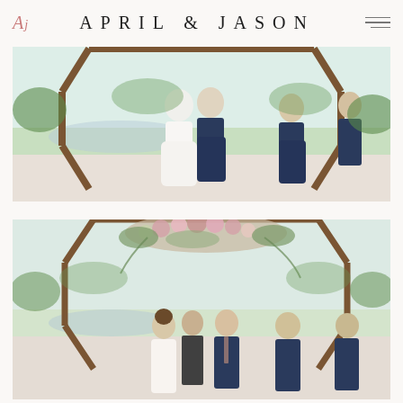April & Jason
[Figure (photo): Wedding ceremony first kiss photo. Bride in white gown and groom in navy suit kissing in front of a large wooden hexagonal arch. Two groomsmen in navy suits stand to the right. Outdoor setting with green trees and a pond in the background.]
[Figure (photo): Wedding ceremony ring exchange photo. Bride and groom facing each other exchanging rings in front of the hexagonal wooden arch decorated with a floral arrangement of pink, white and greenery flowers. An officiant and two groomsmen in navy suits stand nearby. Outdoor setting with green landscape in background.]